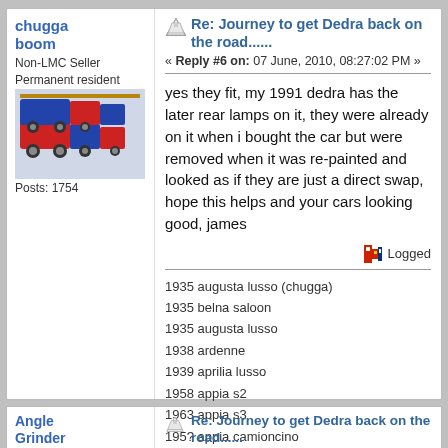chugga boom
Non-LMC Seller Permanent resident
[Figure (photo): User avatar showing colorful toy train image]
Posts: 1754
Re: Journey to get Dedra back on the road......
« Reply #6 on: 07 June, 2010, 08:27:02 PM »
yes they fit, my 1991 dedra has the later rear lamps on it, they were already on it when i bought the car but were removed when it was re-painted and looked as if they are just a direct swap, hope this helps and your cars looking good, james
Logged
1935 augusta lusso (chugga)
1935 belna saloon
1935 augusta lusso
1938 ardenne
1939 aprilia lusso
1958 appia s2
1963 appia s3
195? appia camioncino
1972 fulvia 1600HF
1976 fulvia coupe
194? ardea SUV  "THE BEAST!!!"
Angle Grinder
Megaposter
[Figure (photo): User avatar showing colorful toy train image]
Posts: 420
Re: Journey to get Dedra back on the road......
« Reply #7 on: 07 June, 2010, 10:39:36 PM »
No shortage of indicator lenses and lamps at the